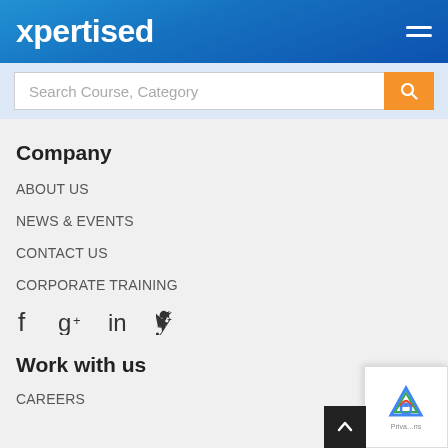xpertised
Search Course, Category
Company
ABOUT US
NEWS & EVENTS
CONTACT US
CORPORATE TRAINING
[Figure (other): Social media icons: Facebook, Google+, LinkedIn, Twitter]
Work with us
CAREERS